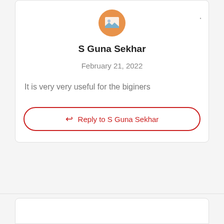[Figure (illustration): Orange circular avatar with a landscape/image placeholder icon in the center]
S Guna Sekhar
February 21, 2022
It is very very useful for the biginers
Reply to S Guna Sekhar